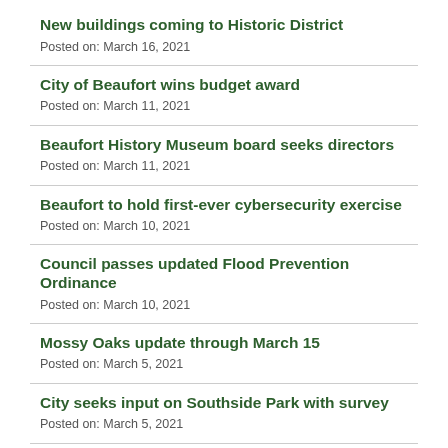New buildings coming to Historic District
Posted on: March 16, 2021
City of Beaufort wins budget award
Posted on: March 11, 2021
Beaufort History Museum board seeks directors
Posted on: March 11, 2021
Beaufort to hold first-ever cybersecurity exercise
Posted on: March 10, 2021
Council passes updated Flood Prevention Ordinance
Posted on: March 10, 2021
Mossy Oaks update through March 15
Posted on: March 5, 2021
City seeks input on Southside Park with survey
Posted on: March 5, 2021